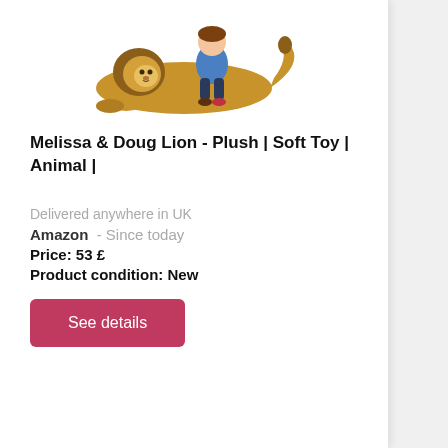[Figure (photo): Product photo of a large plush lion toy with a child riding on its back, set against a white background.]
Melissa & Doug Lion - Plush | Soft Toy | Animal |
Delivered anywhere in UK
Amazon  - Since today
Price: 53 £
Product condition: New
See details